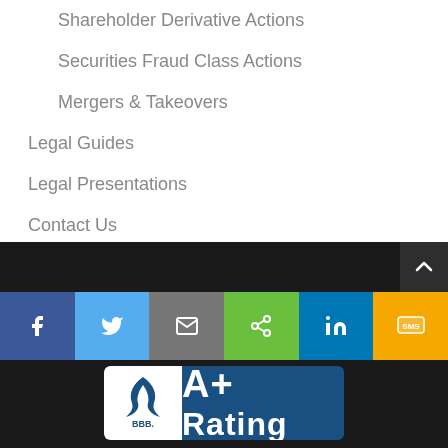Shareholder Derivative Actions
Securities Fraud Class Actions
Mergers & Takeovers
Legal Guides
Legal Presentations
Contact Us
Disclaimer
[Figure (infographic): Dark footer with scroll-to-top button, social media sharing bar (Facebook, Twitter, Email, Share, LinkedIn, SMS), and BBB A+ Rating badge]